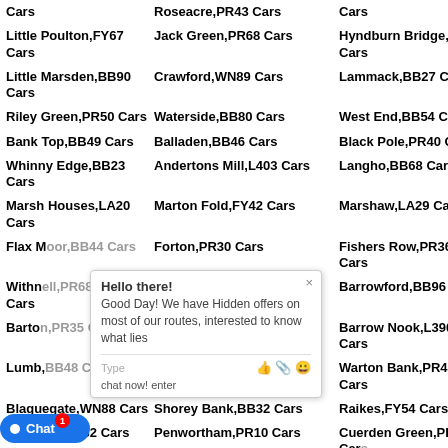Cars
Roseacre,PR43 Cars
Cars
Little Poulton,FY67 Cars
Jack Green,PR68 Cars
Hyndburn Bridge,BB67 Cars
Little Marsden,BB90 Cars
Crawford,WN89 Cars
Lammack,BB27 Cars
Riley Green,PR50 Cars
Waterside,BB80 Cars
West End,BB54 Cars
Bank Top,BB49 Cars
Balladen,BB46 Cars
Black Pole,PR40 Cars
Whinny Edge,BB23 Cars
Andertons Mill,L403 Cars
Langho,BB68 Cars
Marsh Houses,LA20 Cars
Marton Fold,FY42 Cars
Marshaw,LA29 Cars
Flax Moor,BB44 Cars
Forton,PR30 Cars
Fishers Row,PR36 Cars
Withnell,PR68 Cars
Barley,BB129 Cars
Barrowford,BB96 Cars
Barton,PR35 Cars
Barnoldswick,BB185 Cars
Barrow Nook,L390 Cars
Lumb,BB48 Cars
Blacksnape,BB33 Cars
Warton Bank,PR41 Cars
Blaguegate,WN88 Cars
Shorey Bank,BB32 Cars
Raikes,FY54 Cars
Blackrod,BL632 Cars
Penwortham,PR10 Cars
Cuerden Green,PR55 Cars